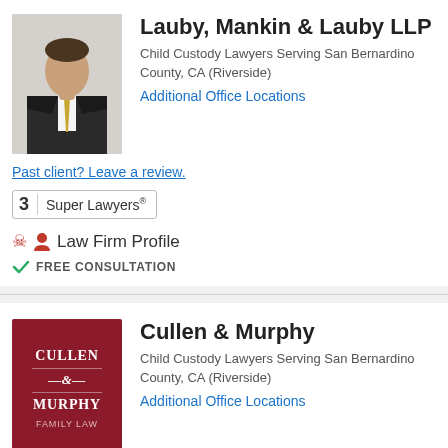[Figure (photo): Professional headshot of a man in a dark suit with yellow/gold tie]
Lauby, Mankin & Lauby LLP
Child Custody Lawyers Serving San Bernardino County, CA (Riverside)
Additional Office Locations
Past client? Leave a review.
3  Super Lawyers®
Law Firm Profile
FREE CONSULTATION
[Figure (logo): Cullen & Murphy Family Law logo — dark red/maroon square with white text]
Cullen & Murphy
Child Custody Lawyers Serving San Bernardino County, CA (Riverside)
Additional Office Locations